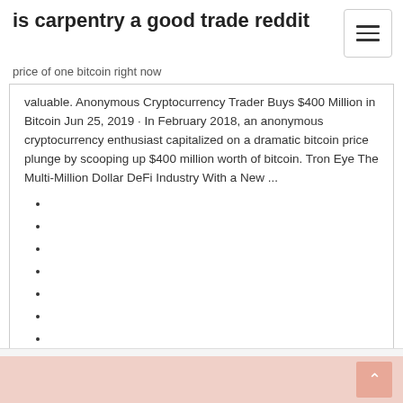is carpentry a good trade reddit
price of one bitcoin right now
valuable. Anonymous Cryptocurrency Trader Buys $400 Million in Bitcoin Jun 25, 2019 · In February 2018, an anonymous cryptocurrency enthusiast capitalized on a dramatic bitcoin price plunge by scooping up $400 million worth of bitcoin. Tron Eye The Multi-Million Dollar DeFi Industry With a New ...